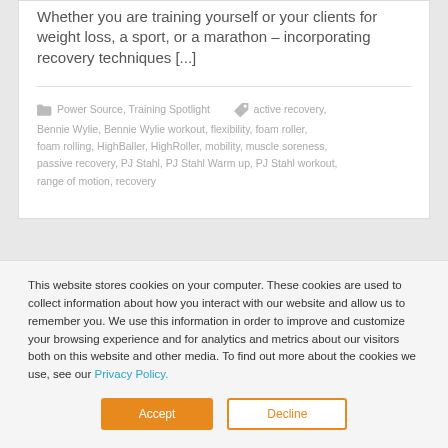Whether you are training yourself or your clients for weight loss, a sport, or a marathon – incorporating recovery techniques [...]
Power Source, Training Spotlight   active recovery, Bennie Wylie, Bennie Wylie workout, flexibility, foam roller, foam rolling, HighBaller, HighRoller, mobility, muscle soreness, passive recovery, PJ Stahl, PJ Stahl Warm up, PJ Stahl workout, range of motion, recovery
This website stores cookies on your computer. These cookies are used to collect information about how you interact with our website and allow us to remember you. We use this information in order to improve and customize your browsing experience and for analytics and metrics about our visitors both on this website and other media. To find out more about the cookies we use, see our Privacy Policy.